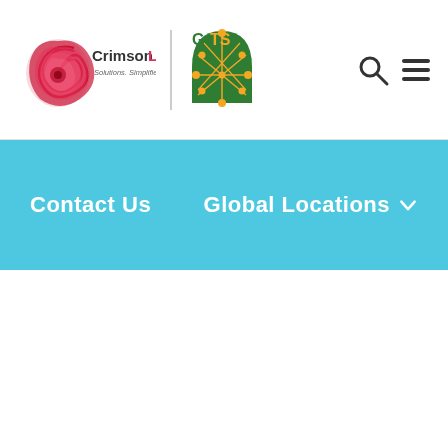[Figure (logo): CrimsonLogic logo with red nautilus shell icon and text 'CrimsonLogic Solutions. Simplified.' followed by a vertical separator and the GeTS logo (green dome with orange network nodes)]
[Figure (other): Search icon (magnifying glass) and hamburger menu icon (three horizontal lines)]
Contact Us
Global Locations